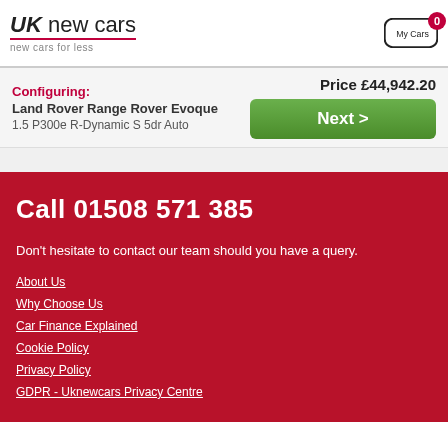UK new cars - new cars for less | My Cars 0
Configuring: Land Rover Range Rover Evoque 1.5 P300e R-Dynamic S 5dr Auto | Price £44,942.20 | Next >
Call 01508 571 385
Don't hesitate to contact our team should you have a query.
About Us
Why Choose Us
Car Finance Explained
Cookie Policy
Privacy Policy
GDPR - Uknewcars Privacy Centre